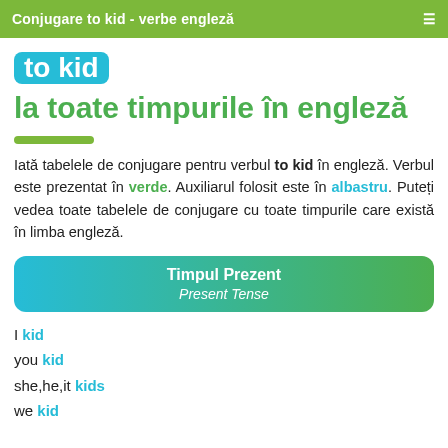Conjugare to kid - verbe engleză
to kid la toate timpurile în engleză
Iată tabelele de conjugare pentru verbul to kid în engleză. Verbul este prezentat în verde. Auxiliarul folosit este în albastru. Puteți vedea toate tabelele de conjugare cu toate timpurile care există în limba engleză.
Timpul Prezent / Present Tense
I kid
you kid
she,he,it kids
we kid